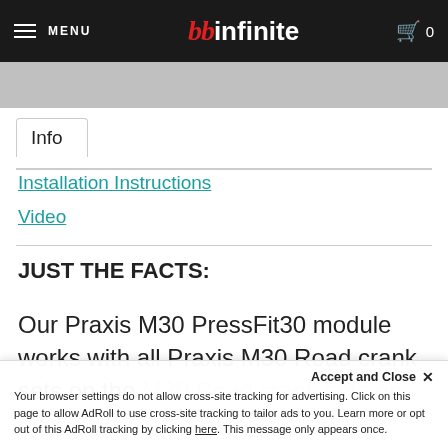MENU | bb infinite | 0
Info
Installation Instructions
Video
JUST THE FACTS:
Our Praxis M30 PressFit30 module works with all Praxis M30 Road crank sets on the
Accept and Close ✕ Your browser settings do not allow cross-site tracking for advertising. Click on this page to allow AdRoll to use cross-site tracking to tailor ads to you. Learn more or opt out of this AdRoll tracking by clicking here. This message only appears once.